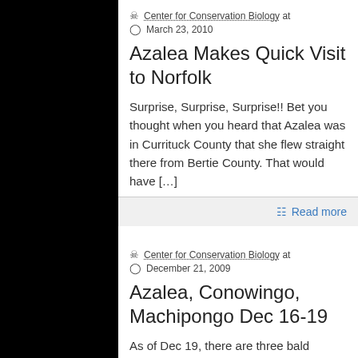Center for Conservation Biology at March 23, 2010
Azalea Makes Quick Visit to Norfolk
Surprise, Surprise, Surprise!! Bet you thought when you heard that Azalea was in Currituck County that she flew straight there from Bertie County. That would have […]
Read more
Center for Conservation Biology at December 21, 2009
Azalea, Conowingo, Machipongo Dec 16-19
As of Dec 19, there are three bald eagles fitted with satellite transmitters in...